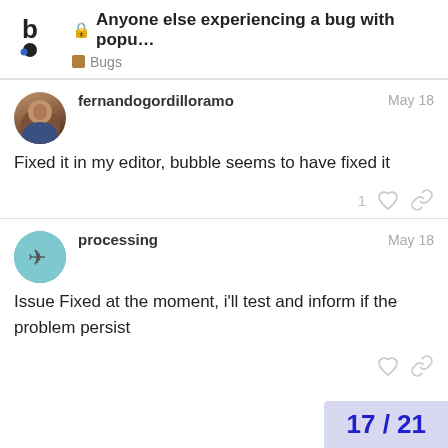Anyone else experiencing a bug with popu... | Bugs
fernandogordilloramo
May 18
Fixed it in my editor, bubble seems to have fixed it
processing
May 18
Issue Fixed at the moment, i'll test and inform if the problem persist
17 / 21